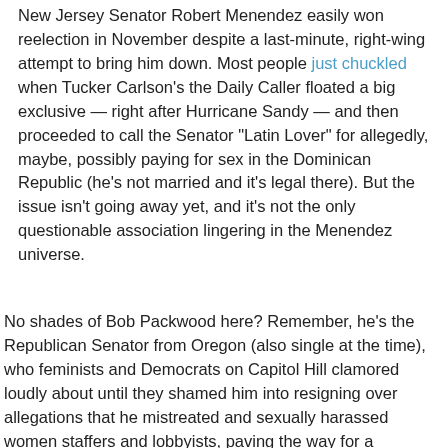New Jersey Senator Robert Menendez easily won reelection in November despite a last-minute, right-wing attempt to bring him down. Most people just chuckled when Tucker Carlson's the Daily Caller floated a big exclusive — right after Hurricane Sandy — and then proceeded to call the Senator "Latin Lover" for allegedly, maybe, possibly paying for sex in the Dominican Republic (he's not married and it's legal there). But the issue isn't going away yet, and it's not the only questionable association lingering in the Menendez universe.
No shades of Bob Packwood here? Remember, he's the Republican Senator from Oregon (also single at the time), who feminists and Democrats on Capitol Hill clamored loudly about until they shamed him into resigning over allegations that he mistreated and sexually harassed women staffers and lobbyists, paving the way for a Democrat to replace him in the Senate. Senate Majority Leader Harry Reid (D-NV), who claimed during last year's election without any substantiation that Mitt Romney hadn't paid federal income